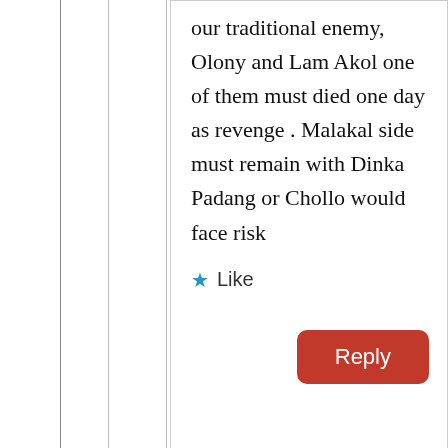our traditional enemy, Olony and Lam Akol one of them must died one day as revenge . Malakal side must remain with Dinka Padang or Chollo would face risk
★ Like
Reply
GatNor
April 7, 2015 at 4:59 pm
At one point you were
Advertisements
[Figure (screenshot): WordPress Hosting advertisement banner with P logo and OPEN sign image. Text: WORDPRESS HOSTING THAT MEANS BUSINESS.]